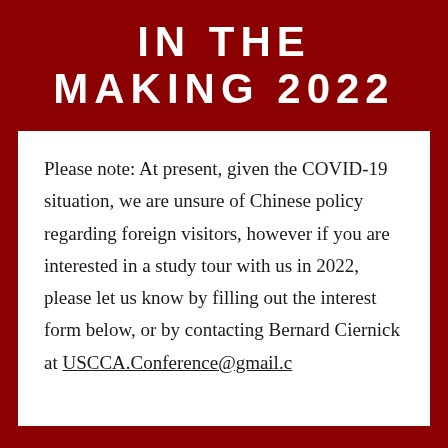IN THE MAKING 2022
Please note: At present, given the COVID-19 situation, we are unsure of Chinese policy regarding foreign visitors, however if you are interested in a study tour with us in 2022, please let us know by filling out the interest form below, or by contacting Bernard Ciernick at USCCA.Conference@gmail.c